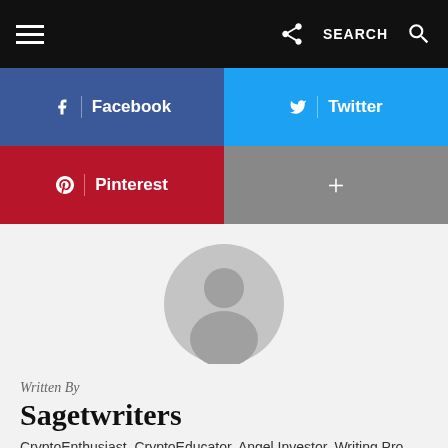≡  SEARCH 🔍
[Figure (infographic): Social sharing buttons: Facebook (dark blue), Twitter (cyan), Pinterest (red), + More (grey)]
[Figure (photo): Generic user avatar placeholder — grey circle with silhouette of a person]
Written By
Sagetwriters
CryptoEnthusiast, CryptoEducator, Angel Investor, Writing Pro and Techie